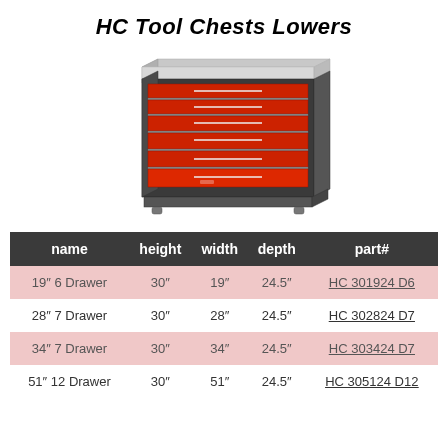HC Tool Chests Lowers
[Figure (illustration): Photo of an HC tool chest lower unit with red drawers and dark grey frame, showing a worktop surface and multiple drawer fronts with handles.]
| name | height | width | depth | part# |
| --- | --- | --- | --- | --- |
| 19″ 6 Drawer | 30″ | 19″ | 24.5″ | HC 301924 D6 |
| 28″ 7 Drawer | 30″ | 28″ | 24.5″ | HC 302824 D7 |
| 34″ 7 Drawer | 30″ | 34″ | 24.5″ | HC 303424 D7 |
| 51″ 12 Drawer | 30″ | 51″ | 24.5″ | HC 305124 D12 |